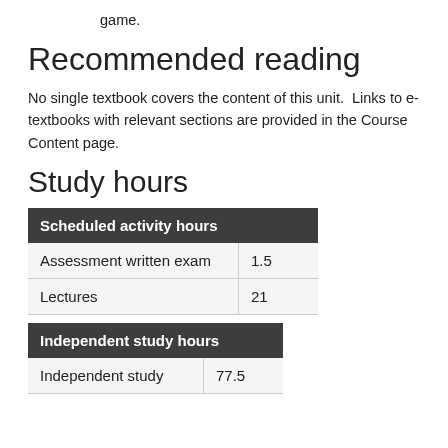game.
Recommended reading
No single textbook covers the content of this unit. Links to e-textbooks with relevant sections are provided in the Course Content page.
Study hours
| Scheduled activity hours |  |
| --- | --- |
| Assessment written exam | 1.5 |
| Lectures | 21 |
| Independent study hours |  |
| --- | --- |
| Independent study | 77.5 |